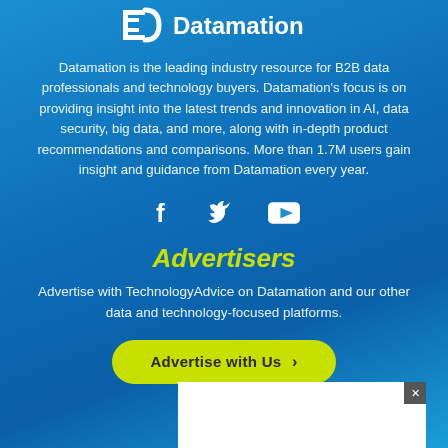[Figure (logo): Datamation logo with stylized D icon and white text]
Datamation is the leading industry resource for B2B data professionals and technology buyers. Datamation’s focus is on providing insight into the latest trends and innovation in AI, data security, big data, and more, along with in-depth product recommendations and comparisons. More than 1.7M users gain insight and guidance from Datamation every year.
[Figure (illustration): Social media icons: Facebook, Twitter, YouTube]
Advertisers
Advertise with TechnologyAdvice on Datamation and our other data and technology-focused platforms.
[Figure (other): Advertise with Us button in yellow-green rounded rectangle with chevron]
[Figure (other): White advertisement banner overlay with close X button]